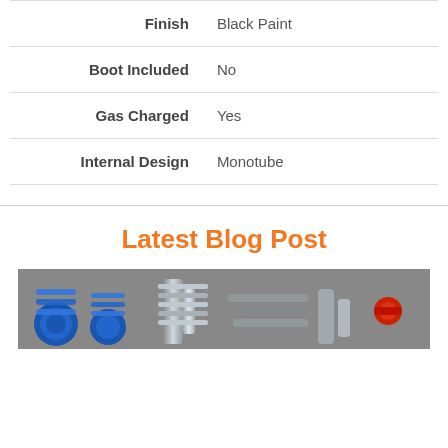| Finish | Black Paint |
| Boot Included | No |
| Gas Charged | Yes |
| Internal Design | Monotube |
Latest Blog Post
[Figure (photo): Photo of blue coilover springs and shock absorber components with a red fitting, laid on a surface.]